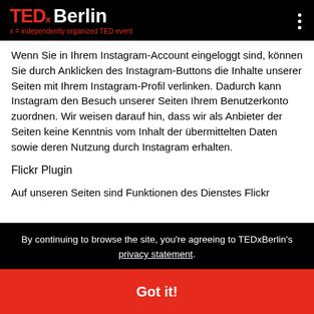TEDx Berlin — x = independently organized TED event
Wenn Sie in Ihrem Instagram-Account eingeloggt sind, können Sie durch Anklicken des Instagram-Buttons die Inhalte unserer Seiten mit Ihrem Instagram-Profil verlinken. Dadurch kann Instagram den Besuch unserer Seiten Ihrem Benutzerkonto zuordnen. Wir weisen darauf hin, dass wir als Anbieter der Seiten keine Kenntnis vom Inhalt der übermittelten Daten sowie deren Nutzung durch Instagram erhalten.
Flickr Plugin
Auf unseren Seiten sind Funktionen des Dienstes Flickr
By continuing to browse the site, you're agreeing to TEDxBerlin's privacy statement.
Got it!